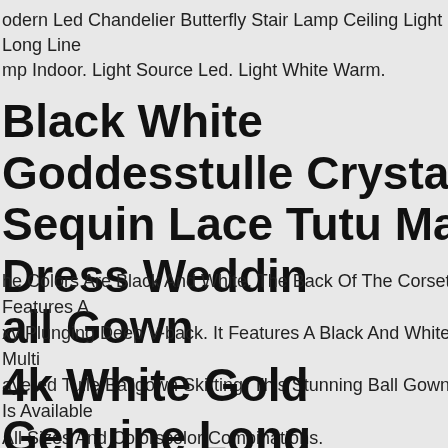odern Led Chandelier Butterfly Stair Lamp Ceiling Light Long Line mp Indoor. Light Source Led. Light White Warm.
Black White Goddesstulle Crystal Sequin Lace Tutu Maxi Dress Wedding Ball Gown
he Colors Are Black And White. The Back Of The Corset Features A xy Plunging Deep V-back. It Features A Black And White Multi ayered Tulle Ballgown Skirting. This Stunning Ball Gown Is Available All Sizes And Colorscolor Combinations.
14k White Gold Genuine Long Baguette Diamond Wide Band Design Stackable Ring New